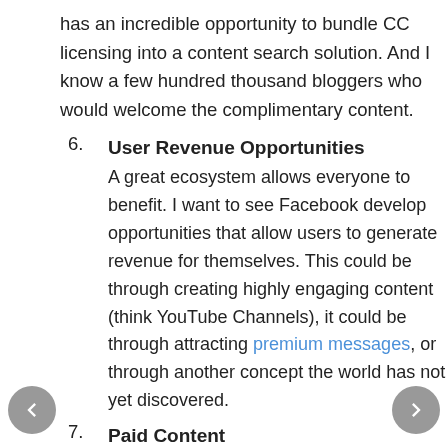has an incredible opportunity to bundle CC licensing into a content search solution.  And I know a few hundred thousand bloggers who would welcome the complimentary content.
User Revenue Opportunities
A great ecosystem allows everyone to benefit.  I want to see Facebook develop opportunities that allow users to generate revenue for themselves.  This could be through creating highly engaging content (think YouTube Channels), it could be through attracting premium messages, or through another concept the world has not yet discovered.
Paid Content
Facebook has incredible infrastructure and an increidble amount of the great